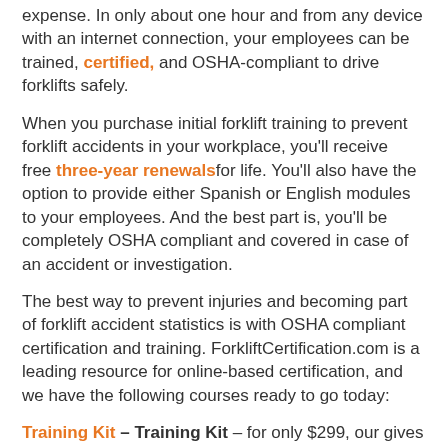expense. In only about one hour and from any device with an internet connection, your employees can be trained, certified, and OSHA-compliant to drive forklifts safely.
When you purchase initial forklift training to prevent forklift accidents in your workplace, you'll receive free three-year renewals for life. You'll also have the option to provide either Spanish or English modules to your employees. And the best part is, you'll be completely OSHA compliant and covered in case of an accident or investigation.
The best way to prevent injuries and becoming part of forklift accident statistics is with OSHA compliant certification and training. ForkliftCertification.com is a leading resource for online-based certification, and we have the following courses ready to go today:
Training Kit – Training Kit – for only $299, our gives your employees a solid foundation of knowledge. They'll know how to prevent forklift accidents, recognize hazards, and much more.